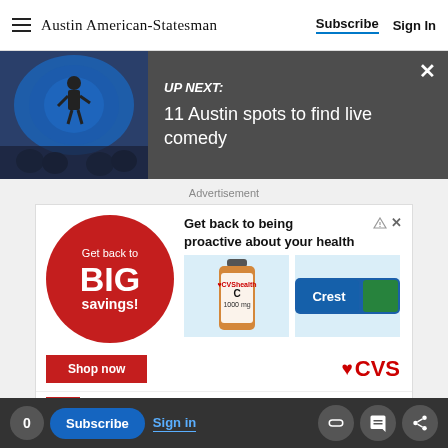Austin American-Statesman — Subscribe | Sign In
[Figure (screenshot): Up Next banner with thumbnail image of comedy show and text: UP NEXT: 11 Austin spots to find live comedy]
UP NEXT: 11 Austin spots to find live comedy
[Figure (photo): CVS advertisement: Get back to BIG savings! Shop now. Get back to being proactive about your health. Products shown: vitamin C supplement and Crest toothpaste. CVS logo. Get Back To Routine With CVS.]
0 Subscribe Sign in